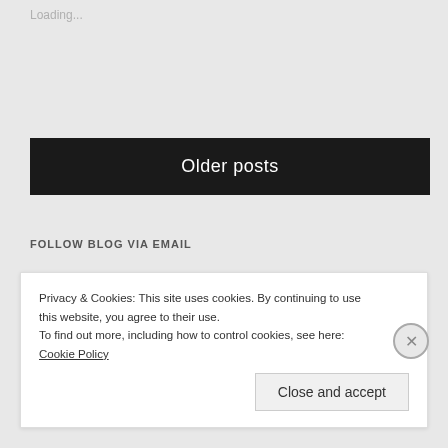Loading...
Older posts
FOLLOW BLOG VIA EMAIL
Enter your email address to follow this blog and receive notifications of new posts by email.
Privacy & Cookies: This site uses cookies. By continuing to use this website, you agree to their use.
To find out more, including how to control cookies, see here: Cookie Policy
Close and accept